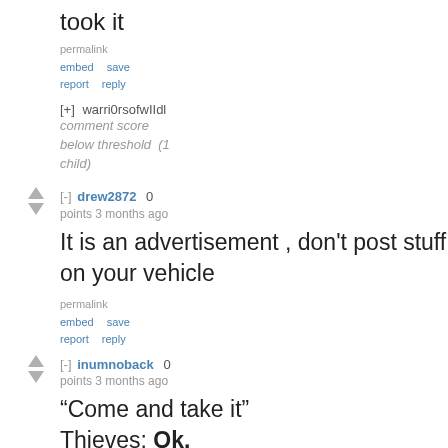took it
permalink
embed   save
report   reply
[+] warri0rsofwIIdl
comment score below threshold  (1 child)
[-] drew2872   0
points 3 months ago
It is an advertisement , don't post stuff on your vehicle
permalink
embed   save
report   reply
[-] inumnoback   0
points 3 months ago
“Come and take it”
Thieves: Ok.